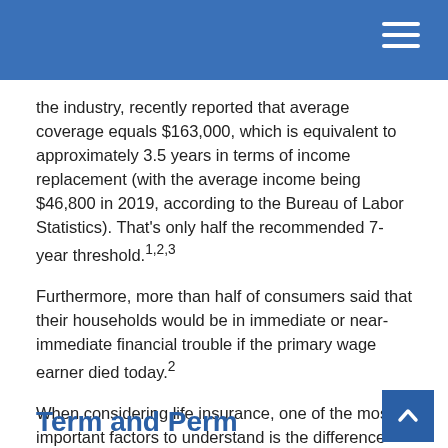the industry, recently reported that average coverage equals $163,000, which is equivalent to approximately 3.5 years in terms of income replacement (with the average income being $46,800 in 2019, according to the Bureau of Labor Statistics). That's only half the recommended 7-year threshold.1,2,3
Furthermore, more than half of consumers said that their households would be in immediate or near-immediate financial trouble if the primary wage earner died today.2
When considering life insurance, one of the most important factors to understand is the difference between term and permanent insurance. Here's an inside look at both.
Term and Perm